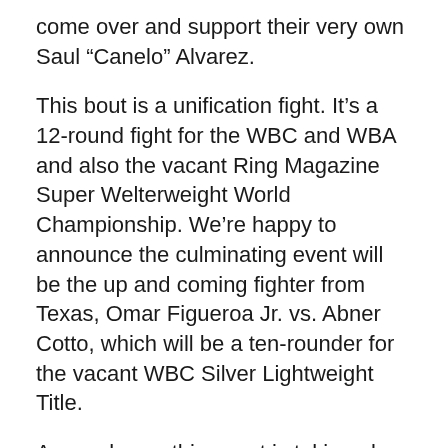come over and support their very own Saul “Canelo” Alvarez.
This bout is a unification fight. It’s a 12-round fight for the WBC and WBA and also the vacant Ring Magazine Super Welterweight World Championship. We’re happy to announce the culminating event will be the up and coming fighter from Texas, Omar Figueroa Jr. vs. Abner Cotto, which will be a ten-rounder for the vacant WBC Silver Lightweight Title.
As you know, this event is taking place at the Alamodome promoted by Golden Boy Promotions and Canelo Promotions. And I also want to thank Leija & Battah Promotions, who have been doing an incredible, incredible job. I’m also happy to announce that Miguel Cotto also is helping us promote this